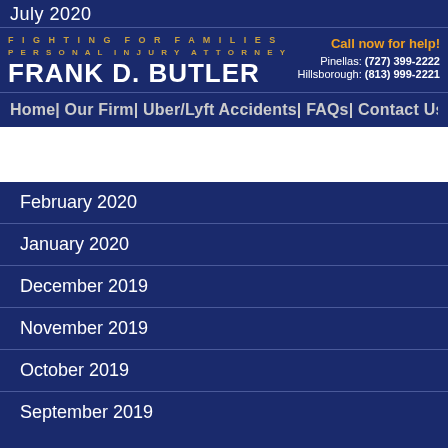July 2020
[Figure (logo): Frank D. Butler Personal Injury Attorney logo with text 'Fighting for Families / Personal Injury Attorney / Frank D. Butler']
Call now for help! Pinellas: (727) 399-2222 Hillsborough: (813) 999-2221
Home| Our Firm| Uber/Lyft Accidents| FAQs| Contact Us
February 2020
January 2020
December 2019
November 2019
October 2019
September 2019